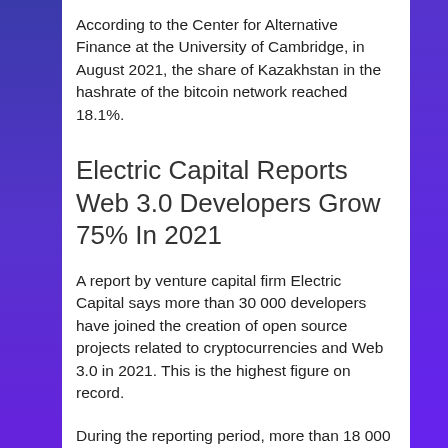According to the Center for Alternative Finance at the University of Cambridge, in August 2021, the share of Kazakhstan in the hashrate of the bitcoin network reached 18.1%.
Electric Capital Reports Web 3.0 Developers Grow 75% In 2021
A report by venture capital firm Electric Capital says more than 30 000 developers have joined the creation of open source projects related to cryptocurrencies and Web 3.0 in 2021. This is the highest figure on record.
During the reporting period, more than 18 000 monthly active developers made code changes to projects in the digital assets and Web 3.0 domains. Since the beginning of 2021, their number has